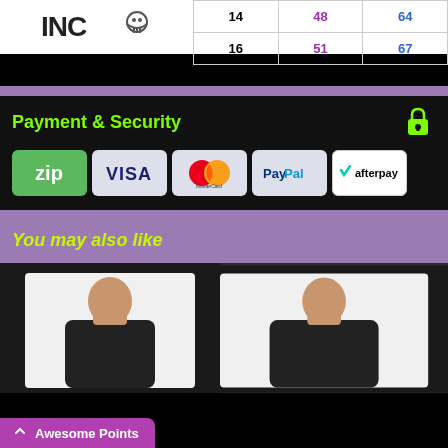| 14 | 48 | 64 |
| 16 | 51 | 67 |
Payment & Security
[Figure (logo): zip payment logo - green background with white 'zip' text]
[Figure (logo): VISA logo on light grey background]
[Figure (logo): MasterCard logo - red and orange overlapping circles on grey background]
[Figure (logo): PayPal logo on light grey background]
[Figure (logo): Afterpay logo on white background with teal checkmark and text]
You may also like
[Figure (photo): Person wearing black t-shirt, left product thumbnail]
[Figure (photo): Person wearing black t-shirt, right product thumbnail]
Awesome Points